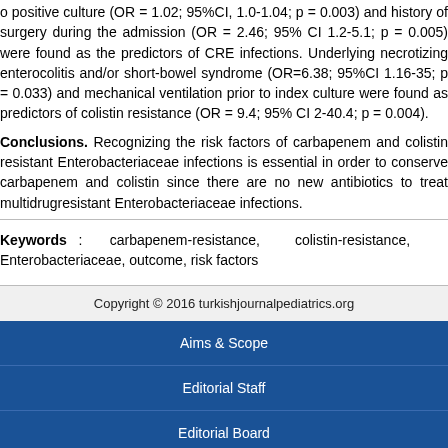o positive culture (OR = 1.02; 95%CI, 1.0-1.04; p = 0.003) and history of surgery during the admission (OR = 2.46; 95% CI 1.2-5.1; p = 0.005) were found as the predictors of CRE infections. Underlying necrotizing enterocolitis and/or short-bowel syndrome (OR=6.38; 95%CI 1.16-35; p = 0.033) and mechanical ventilation prior to index culture were found as predictors of colistin resistance (OR = 9.4; 95% CI 2-40.4; p = 0.004).
Conclusions. Recognizing the risk factors of carbapenem and colistin resistant Enterobacteriaceae infections is essential in order to conserve carbapenem and colistin since there are no new antibiotics to treat multidrugresistant Enterobacteriaceae infections.
Keywords : carbapenem-resistance, colistin-resistance, Enterobacteriaceae, outcome, risk factors
Copyright © 2016 turkishjournalpediatrics.org
Aims & Scope
Editorial Staff
Editorial Board
Instructions